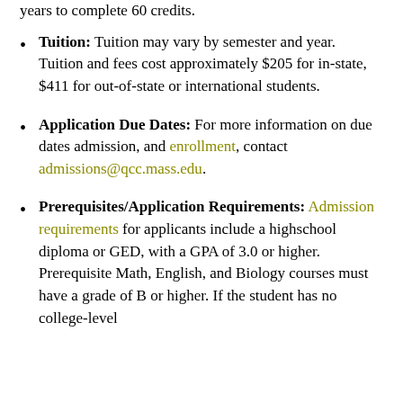years to complete 60 credits.
Tuition: Tuition may vary by semester and year. Tuition and fees cost approximately $205 for in-state, $411 for out-of-state or international students.
Application Due Dates: For more information on due dates admission, and enrollment, contact admissions@qcc.mass.edu.
Prerequisites/Application Requirements: Admission requirements for applicants include a highschool diploma or GED, with a GPA of 3.0 or higher. Prerequisite Math, English, and Biology courses must have a grade of B or higher. If the student has no college-level